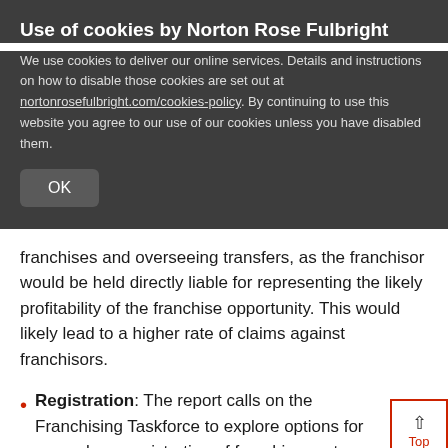Use of cookies by Norton Rose Fulbright
We use cookies to deliver our online services. Details and instructions on how to disable those cookies are set out at nortonrosefulbright.com/cookies-policy. By continuing to use this website you agree to our use of our cookies unless you have disabled them.
OK
franchises and overseeing transfers, as the franchisor would be held directly liable for representing the likely profitability of the franchise opportunity. This would likely lead to a higher rate of claims against franchisors.
Registration: The report calls on the Franchising Taskforce to explore options for compulsory registration of franchise system
Social media icons: LinkedIn, Twitter, Facebook, Print